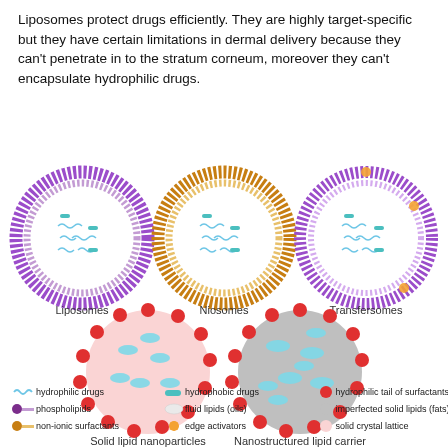Liposomes protect drugs efficiently. They are highly target-specific but they have certain limitations in dermal delivery because they can't penetrate in to the stratum corneum, moreover they can't encapsulate hydrophilic drugs.
[Figure (illustration): Diagram showing five types of nanoparticle drug delivery systems: Liposomes (purple bilayer vesicle with aqueous core), Niosomes (orange non-ionic surfactant vesicle), Transfersomes (purple flexible vesicle with edge activators), Solid lipid nanoparticles/SLNs (pink solid lipid core with red surfactant shell), and Nanostructured lipid carrier/NLCs (gray mixed lipid core with red surfactant shell). Each labeled below. Legend at bottom identifies hydrophilic drugs, phospholipids, non-ionic surfactants, hydrophobic drugs, fluid lipids (oils), edge activators, hydrophilic tail of surfactants, imperfected solid lipids (fats), solid crystal lattice.]